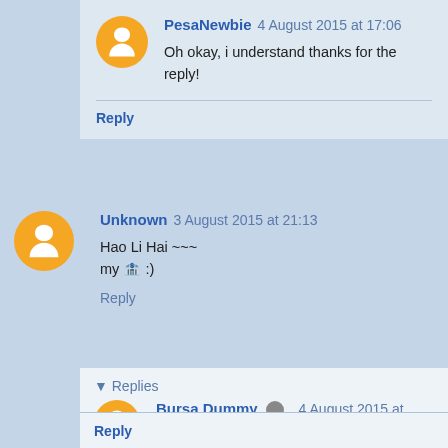PesaNewbie  4 August 2015 at 17:06
Oh okay, i understand thanks for the reply!
Reply
Unknown  3 August 2015 at 21:13
Hao Li Hai ~~~ my 🏦 :)
Reply
▼ Replies
Bursa Dummy  4 August 2015 at 09:47
I would say luck is on my side. I think that short-term those export stocks hard and more than 100% return in a
Reply